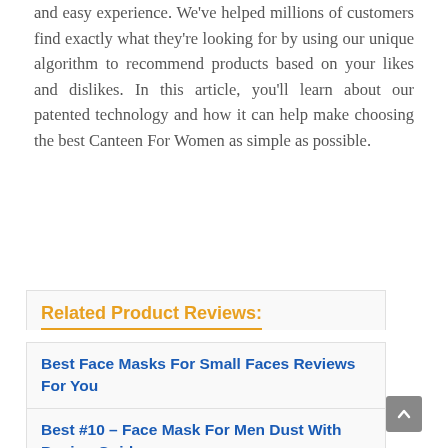and easy experience. We've helped millions of customers find exactly what they're looking for by using our unique algorithm to recommend products based on your likes and dislikes. In this article, you'll learn about our patented technology and how it can help make choosing the best Canteen For Women as simple as possible.
Related Product Reviews:
Best Face Masks For Small Faces Reviews For You
Best #10 – Face Mask For Men Dust With Buying Guide